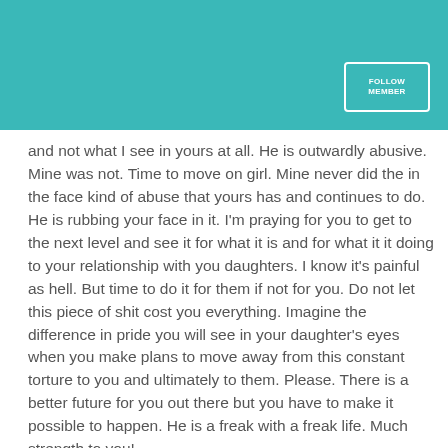and not what I see in yours at all. He is outwardly abusive. Mine was not. Time to move on girl. Mine never did the in the face kind of abuse that yours has and continues to do. He is rubbing your face in it. I'm praying for you to get to the next level and see it for what it is and for what it it doing to your relationship with you daughters. I know it's painful as hell. But time to do it for them if not for you. Do not let this piece of shit cost you everything. Imagine the difference in pride you will see in your daughter's eyes when you make plans to move away from this constant torture to you and ultimately to them. Please. There is a better future for you out there but you have to make it possible to happen. He is a freak with a freak life. Much strength to you!
almostlydia